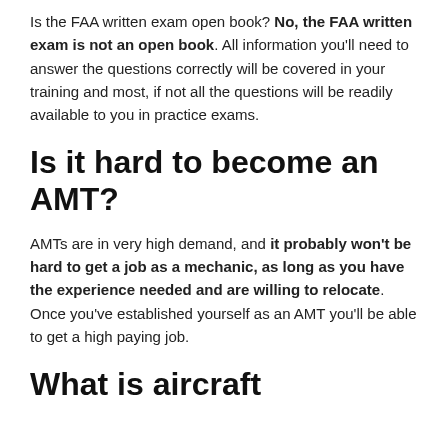Is the FAA written exam open book? No, the FAA written exam is not an open book. All information you'll need to answer the questions correctly will be covered in your training and most, if not all the questions will be readily available to you in practice exams.
Is it hard to become an AMT?
AMTs are in very high demand, and it probably won't be hard to get a job as a mechanic, as long as you have the experience needed and are willing to relocate. Once you've established yourself as an AMT you'll be able to get a high paying job.
What is aircraft